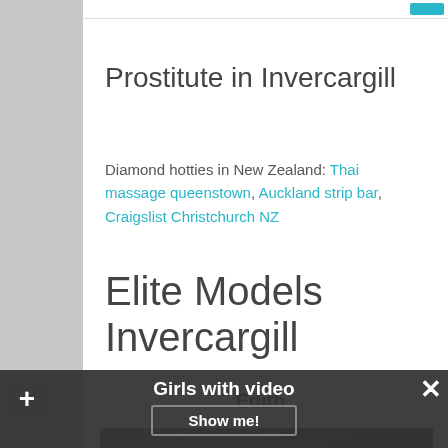Prostitute in Invercargill
Diamond hotties in New Zealand: Thai massage queenstown, Auckland strip bar, Craigslist Christchurch NZ
Elite Models Invercargill
Edith
[Figure (photo): Partial photo of a person, mostly dark]
Girls with video Show me!